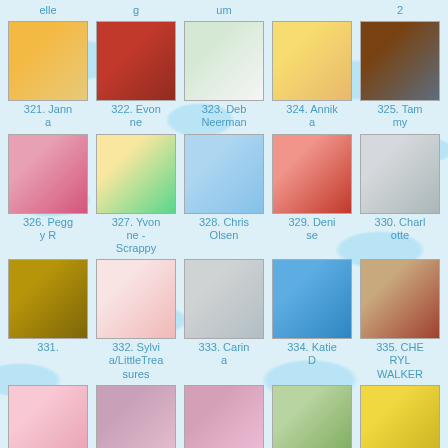[Figure (photo): Grid of craft/card thumbnail images with numbered contributor names. Shows entries 321-340 in a 5-column grid layout.]
321. Janna
322. Evonne
323. Deb Neerman
324. Annika
325. Tammy
326. Peggy R
327. Yvonne - Scrappy
328. Chris Olsen
329. Denise
330. Charlotte
331.
332. Sylvia/LittleTreasures
333. Carina
334. Katie D
335. CHERYL WALKER
336. Heidi-Mari
337. libeet i
338. Cajdace P
339. libeet i-lo
340. Patricia St Martin